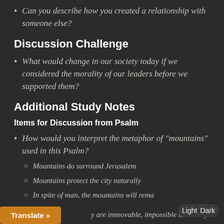Can you describe how you created a relationship with someone else?
Discussion Challenge
What would change in our society today if we considered the morality of our leaders before we supported them?
Additional Study Notes
Items for Discussion from Psalm
How would you interpret the metaphor of "mountains" used in this Psalm?
Mountains do surround Jerusalem
Mountains protect the city naturally
In spite of man, the mountains will rema... y are immovable, impossible to destroy: